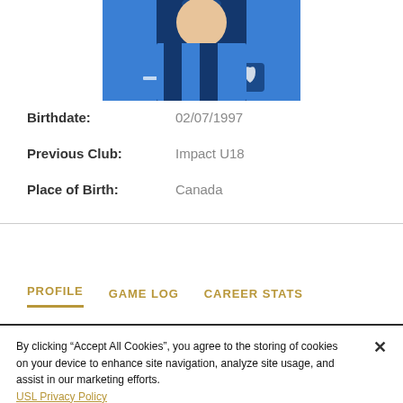[Figure (photo): Player photo wearing blue and dark navy striped soccer jersey]
Birthdate: 02/07/1997
Previous Club: Impact U18
Place of Birth: Canada
PROFILE   GAME LOG   CAREER STATS
By clicking “Accept All Cookies”, you agree to the storing of cookies on your device to enhance site navigation, analyze site usage, and assist in our marketing efforts.
USL Privacy Policy
Cookies Settings
Accept All Cookies